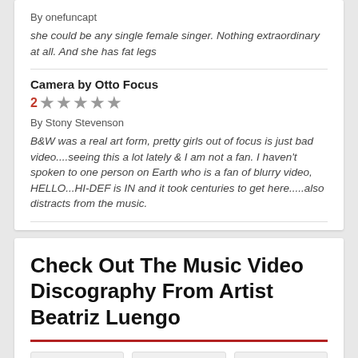By onefuncapt
she could be any single female singer. Nothing extraordinary at all. And she has fat legs
Camera by Otto Focus
2 ★★★★★
By Stony Stevenson
B&W was a real art form, pretty girls out of focus is just bad video....seeing this a lot lately & I am not a fan. I haven't spoken to one person on Earth who is a fan of blurry video, HELLO...HI-DEF is IN and it took centuries to get here.....also distracts from the music.
Check Out The Music Video Discography From Artist Beatriz Luengo